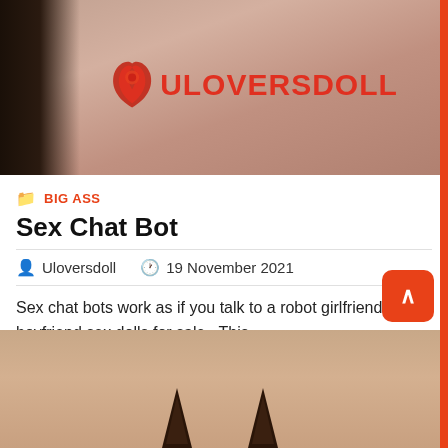[Figure (photo): Top portion of a figure/doll with a watermark logo reading ULOVERSDOLL in red letters with a stylized icon]
BIG ASS
Sex Chat Bot
Uloversdoll   19 November 2021
Sex chat bots work as if you talk to a robot girlfriend or boyfriend sex dolls for sale . This
Read More
[Figure (photo): Bottom partial image showing dark animal ears on a figure's head against a warm background]